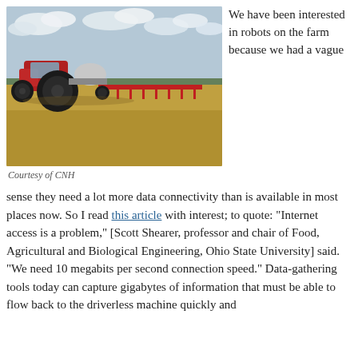[Figure (photo): A red autonomous/driverless tractor with large black wheels pulling agricultural equipment across a golden harvested field under a cloudy sky.]
Courtesy of CNH
We have been interested in robots on the farm because we had a vague sense they need a lot more data connectivity than is available in most places now. So I read this article with interest; to quote: “Internet access is a problem,” [Scott Shearer, professor and chair of Food, Agricultural and Biological Engineering, Ohio State University] said. “We need 10 megabits per second connection speed.” Data-gathering tools today can capture gigabytes of information that must be able to flow back to the driverless machine quickly and